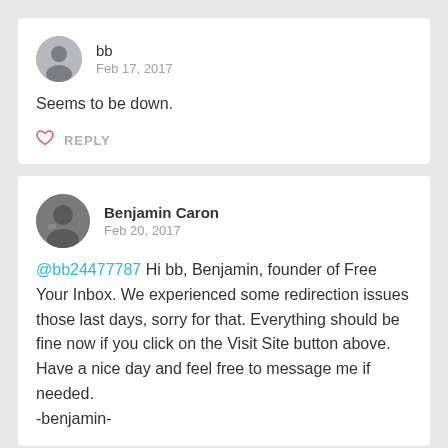bb
Feb 17, 2017
Seems to be down.
♡ REPLY
Benjamin Caron
Feb 20, 2017
@bb24477787 Hi bb, Benjamin, founder of Free Your Inbox. We experienced some redirection issues those last days, sorry for that. Everything should be fine now if you click on the Visit Site button above.
Have a nice day and feel free to message me if needed.
-benjamin-